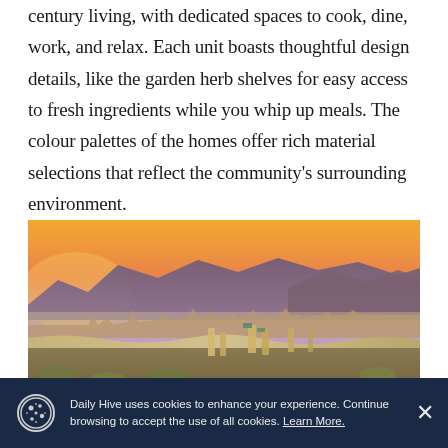century living, with dedicated spaces to cook, dine, work, and relax. Each unit boasts thoughtful design details, like the garden herb shelves for easy access to fresh ingredients while you whip up meals. The colour palettes of the homes offer rich material selections that reflect the community's surrounding environment.
[Figure (photo): Aerial panoramic view of a city with a river and mountains in the background at sunset/golden hour. Dense urban residential area in foreground with high-rise buildings, and mountains with purple/brown hues in the background.]
Daily Hive uses cookies to enhance your experience. Continue browsing to accept the use of all cookies. Learn More.